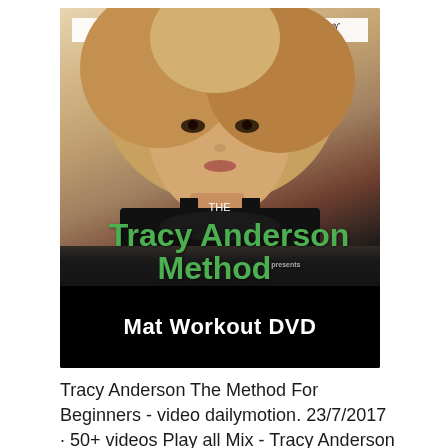[Figure (photo): DVD cover for Tracy Anderson Method Mat Workout DVD. Shows a blonde woman's face/portrait on a white background, with 'The Tracy Anderson Method' in large green text and 'Mat Workout DVD' in white text on a black bar at the bottom. A quote at the top reads: 'Tracy Anderson's Method has proven to be the best exercise program for my body' – Madonna]
Tracy Anderson The Method For Beginners - video dailymotion. 23/7/2017 · 50+ videos Play all Mix - Tracy Anderson Method my Results!